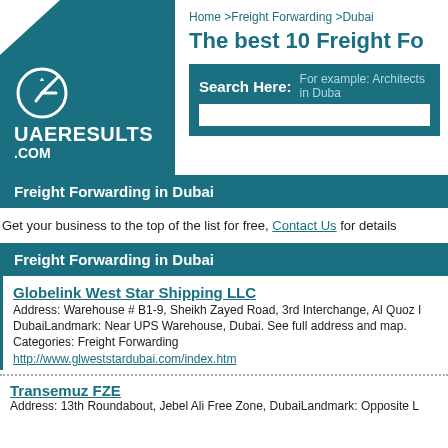[Figure (logo): UAEResults.com logo with teal background, white arrow icon, and white text]
Home >Freight Forwarding >Dubai
The best 10 Freight Fo
Search Here: For example: Architects in Duba
Freight Forwarding in Dubai
Get your business to the top of the list for free, Contact Us for details
Freight Forwarding in Dubai
Globelink West Star Shipping LLC
Address: Warehouse # B1-9, Sheikh Zayed Road, 3rd Interchange, Al Quoz I DubaiLandmark: Near UPS Warehouse, Dubai. See full address and map.
Categories: Freight Forwarding
http://www.glweststardubai.com/index.htm
Transemuz FZE
Address: 13th Roundabout, Jebel Ali Free Zone, DubaiLandmark: Opposite L